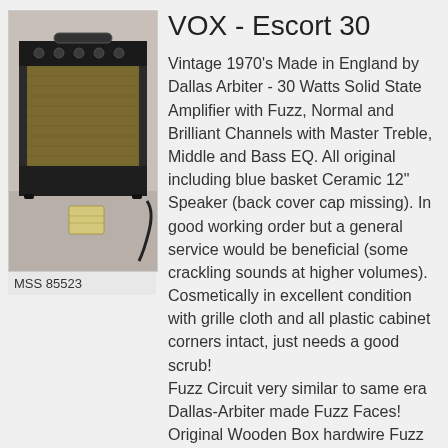[Figure (photo): Photo of a VOX Escort 30 vintage guitar amplifier, a small black rectangular combo amp with gold grille cloth, sitting on a surface with a tag visible.]
MSS 85523
VOX - Escort 30
Vintage 1970's Made in England by Dallas Arbiter - 30 Watts Solid State Amplifier with Fuzz, Normal and Brilliant Channels with Master Treble, Middle and Bass EQ. All original including blue basket Ceramic 12" Speaker (back cover cap missing). In good working order but a general service would be beneficial (some crackling sounds at higher volumes).
Cosmetically in excellent condition with grille cloth and all plastic cabinet corners intact, just needs a good scrub!
Fuzz Circuit very similar to same era Dallas-Arbiter made Fuzz Faces! Original Wooden Box hardwire Fuzz